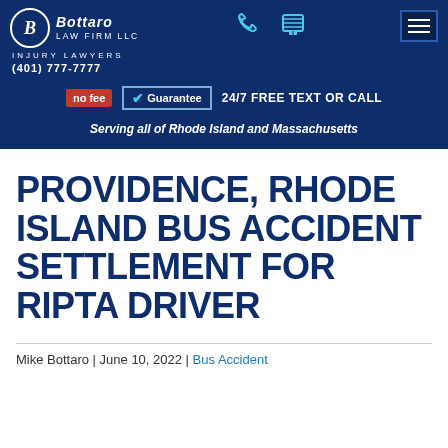Bottaro Law Firm LLC | Injury Lawyers | (401) 777-7777 | no fee Guarantee | 24/7 FREE TEXT OR CALL | Serving all of Rhode Island and Massachusetts
PROVIDENCE, RHODE ISLAND BUS ACCIDENT SETTLEMENT FOR RIPTA DRIVER
Mike Bottaro | June 10, 2022 | Bus Accident